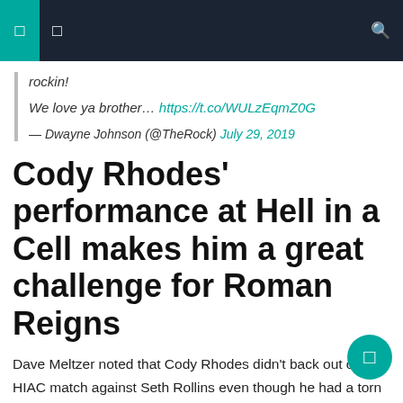Navigation bar with icons
rockin!
We love ya brother… https://t.co/WULzEqmZ0G
— Dwayne Johnson (@TheRock) July 29, 2019
Cody Rhodes' performance at Hell in a Cell makes him a great challenge for Roman Reigns
Dave Meltzer noted that Cody Rhodes didn't back out of his HIAC match against Seth Rollins even though he had a torn pec. His performance has been praised tremendously, and Meltzer believes WWE needs to portray the match as a lifetime performance. They have an opportunity to turn it